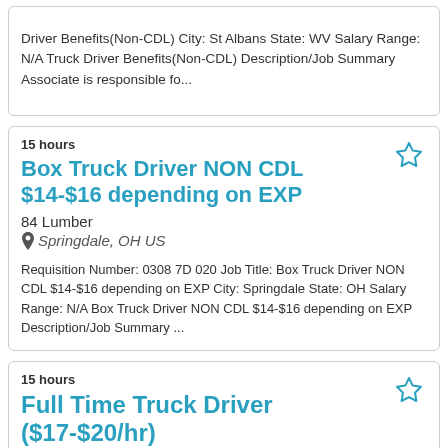Driver Benefits(Non-CDL) City: St Albans State: WV Salary Range: N/A Truck Driver Benefits(Non-CDL) Description/Job Summary Associate is responsible fo...
15 hours
Box Truck Driver NON CDL $14-$16 depending on EXP
84 Lumber
Springdale, OH US
Requisition Number: 0308 7D 020 Job Title: Box Truck Driver NON CDL $14-$16 depending on EXP City: Springdale State: OH Salary Range: N/A Box Truck Driver NON CDL $14-$16 depending on EXP Description/Job Summary ...
15 hours
Full Time Truck Driver ($17-$20/hr)
84 Lumber
Fishers, Evans, PA US